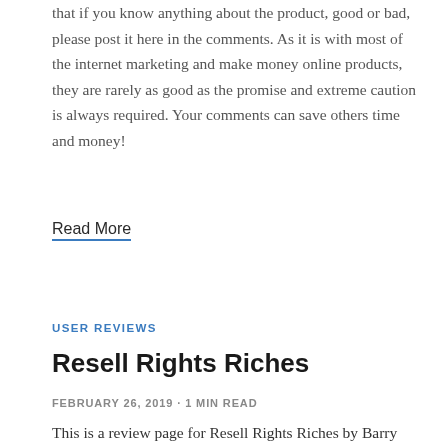that if you know anything about the product, good or bad, please post it here in the comments. As it is with most of the internet marketing and make money online products, they are rarely as good as the promise and extreme caution is always required. Your comments can save others time and money!
Read More
USER REVIEWS
Resell Rights Riches
FEBRUARY 26, 2019 · 1 MIN READ
This is a review page for Resell Rights Riches by Barry Joyce. The launch of Resell Rights Riches was announced by JVNotifyPro. I would appreciate that if you know anything about the product, good or bad, please post it here in the comments. As it is with most of the internet marketing and make money online products,